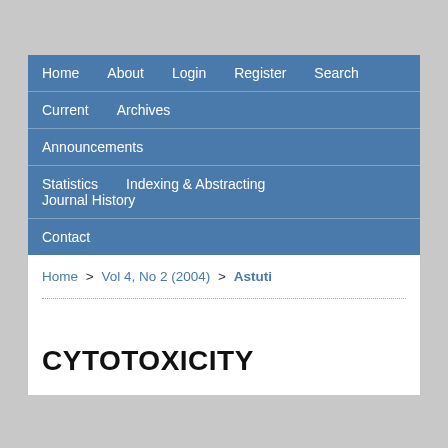Home | About | Login | Register | Search
Current | Archives
Announcements
Statistics | Indexing & Abstracting | Journal History
Contact
Home > Vol 4, No 2 (2004) > Astuti
CYTOTOXICITY